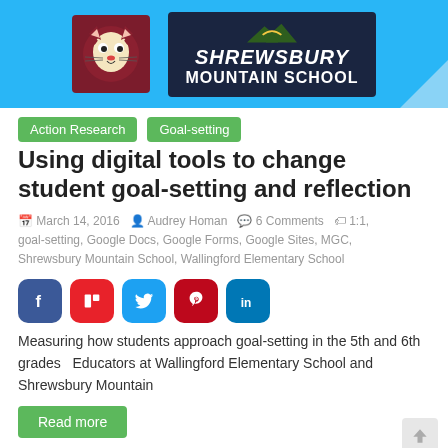[Figure (logo): School header banner with wildcat mascot logo and Shrewsbury Mountain School logo on blue background]
Action Research
Goal-setting
Using digital tools to change student goal-setting and reflection
March 14, 2016   Audrey Homan   6 Comments   1:1, goal-setting, Google Docs, Google Forms, Google Sites, MGC, Shrewsbury Mountain School, Wallingford Elementary School
[Figure (infographic): Social sharing icons: Facebook, Flipboard, Twitter, Pinterest, LinkedIn]
Measuring how students approach goal-setting in the 5th and 6th grades   Educators at Wallingford Elementary School and Shrewsbury Mountain
Read more